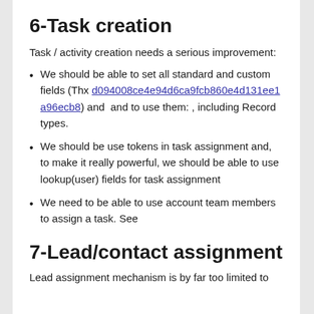6-Task creation
Task / activity creation needs a serious improvement:
We should be able to set all standard and custom fields (Thx d094008ce4e94d6ca9fcb860e4d131ee1a96ecb8) and  and to use them: , including Record types.
We should be use tokens in task assignment and, to make it really powerful, we should be able to use lookup(user) fields for task assignment
We need to be able to use account team members to assign a task. See
7-Lead/contact assignment
Lead assignment mechanism is by far too limited to